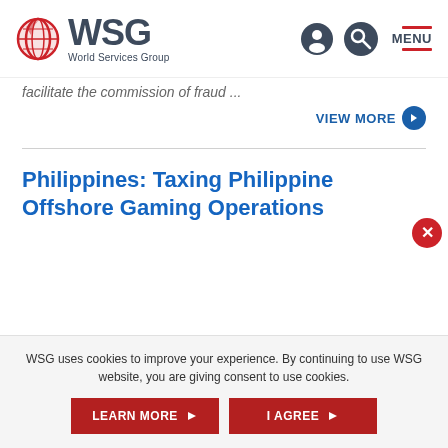[Figure (logo): WSG World Services Group logo with globe icon]
facilitate the commission of fraud ...
VIEW MORE
Philippines: Taxing Philippine Offshore Gaming Operations
WSG uses cookies to improve your experience. By continuing to use WSG website, you are giving consent to use cookies.
LEARN MORE
I AGREE